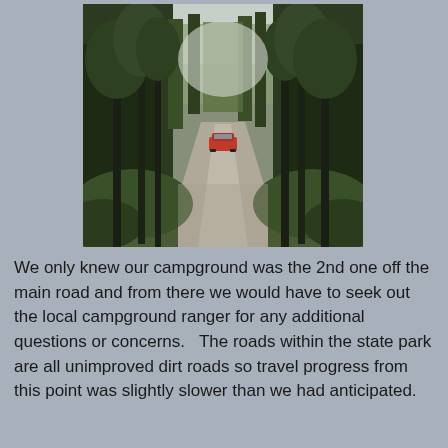[Figure (photo): A dirt road through a dense forest with tall trees on both sides. A red car is visible in the middle distance driving away down the road. The sky is overcast and light gray overhead. Green foliage lines both sides of the narrow gravel path.]
We only knew our campground was the 2nd one off the main road and from there we would have to seek out the local campground ranger for any additional questions or concerns.   The roads within the state park are all unimproved dirt roads so travel progress from this point was slightly slower than we had anticipated.